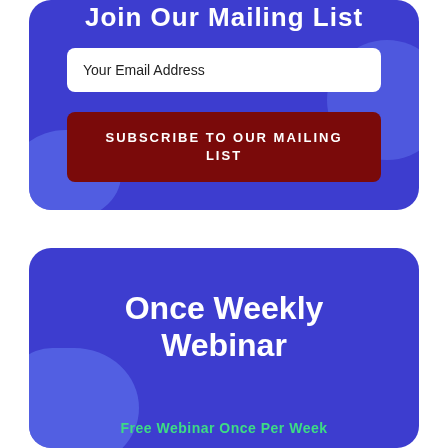Join Our Mailing List
Your Email Address
SUBSCRIBE TO OUR MAILING LIST
Once Weekly Webinar
Free Webinar Once Per Week